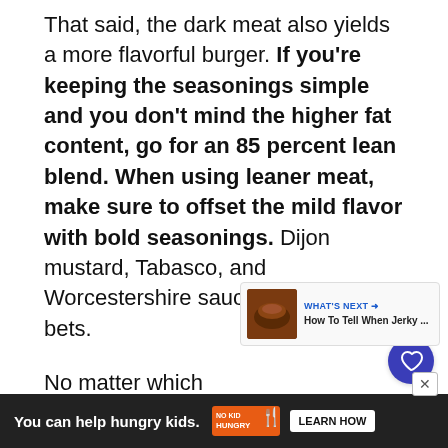That said, the dark meat also yields a more flavorful burger. If you're keeping the seasonings simple and you don't mind the higher fat content, go for an 85 percent lean blend. When using leaner meat, make sure to offset the mild flavor with bold seasonings. Dijon mustard, Tabasco, and Worcestershire sauce are all good bets.
[Figure (other): Heart (favorite) button - circular white button with heart icon]
[Figure (other): Share button - circular white button with share icon]
[Figure (other): What's Next widget showing 'How To Tell When Jerky ...' with a food thumbnail image]
No matter which type of ground turk… buy, it's crucial to cook the meat to a safe in… oked,
[Figure (other): Advertisement banner: 'You can help hungry kids. No Kid Hungry. LEARN HOW']